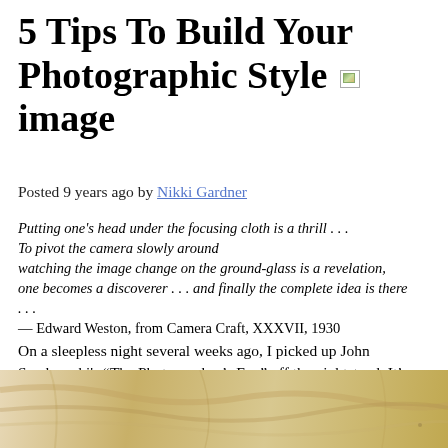5 Tips To Build Your Photographic Style image
Posted 9 years ago by Nikki Gardner
Putting one's head under the focusing cloth is a thrill . . . To pivot the camera slowly around watching the image change on the ground-glass is a revelation, one becomes a discoverer . . . and finally the complete idea is there . . .
— Edward Weston, from Camera Craft, XXXVII, 1930
On a sleepless night several weeks ago, I picked up John Szarkowski's “The Photographer’s Eye” off the nightstand. It’s one of those seminal books I recently added to my photography collection and reference whenever I need a little inspiration.
[Figure (photo): Photograph of wooden surface with light grain texture, warm beige and tan tones]